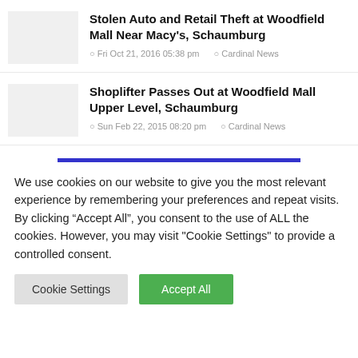Stolen Auto and Retail Theft at Woodfield Mall Near Macy's, Schaumburg
Fri Oct 21, 2016 05:38 pm   Cardinal News
Shoplifter Passes Out at Woodfield Mall Upper Level, Schaumburg
Sun Feb 22, 2015 08:20 pm   Cardinal News
We use cookies on our website to give you the most relevant experience by remembering your preferences and repeat visits. By clicking “Accept All”, you consent to the use of ALL the cookies. However, you may visit "Cookie Settings" to provide a controlled consent.